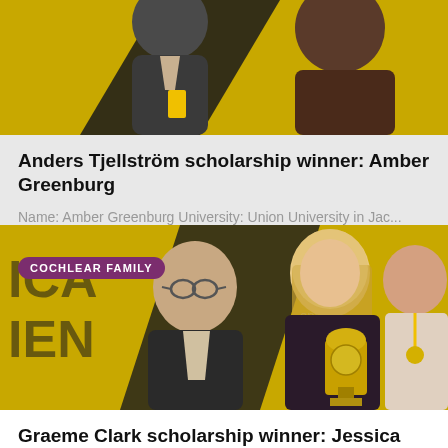[Figure (photo): Two people at an awards event with yellow background; partial view showing upper bodies]
Anders Tjellström scholarship winner: Amber Greenburg
Name: Amber Greenburg University: Union University in Jac...
[Figure (photo): Man with glasses smiling and a young woman holding a trophy at an awards ceremony with yellow and black background; badge reads COCHLEAR FAMILY]
Graeme Clark scholarship winner: Jessica Hayden